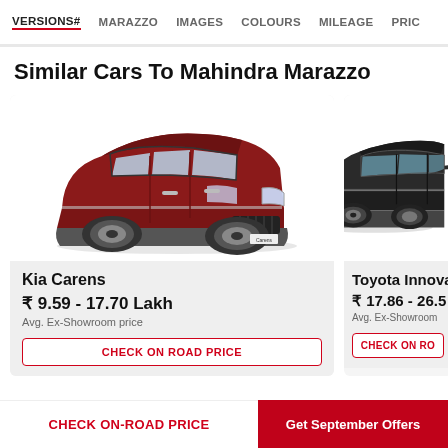VERSIONS# | MARAZZO | IMAGES | COLOURS | MILEAGE | PRICE
Similar Cars To Mahindra Marazzo
[Figure (photo): Red Kia Carens SUV side-front view]
Kia Carens
₹ 9.59 - 17.70 Lakh
Avg. Ex-Showroom price
CHECK ON ROAD PRICE
[Figure (photo): Black Toyota Innova MPV partial side view (cropped)]
Toyota Innova
₹ 17.86 - 26.5
Avg. Ex-Showroom
CHECK ON RO
CHECK ON-ROAD PRICE
Get September Offers